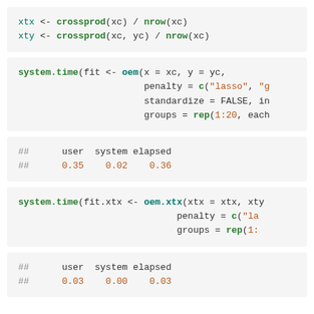xtx <- crossprod(xc) / nrow(xc)
xty <- crossprod(xc, yc) / nrow(xc)
system.time(fit <- oem(x = xc, y = yc,
                       penalty = c("lasso", "g
                       standardize = FALSE, in
                       groups = rep(1:20, each
##      user  system elapsed
##      0.35    0.02    0.36
system.time(fit.xtx <- oem.xtx(xtx = xtx, xty
                             penalty = c("la
                             groups = rep(1:
##      user  system elapsed
##      0.03    0.00    0.03